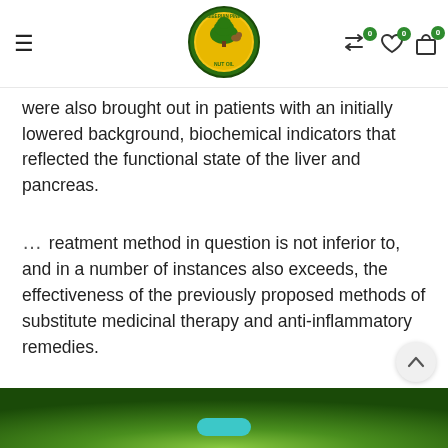Siberian Pine Nut Oil — navigation header with logo
were also brought out in patients with an initially lowered background, biochemical indicators that reflected the functional state of the liver and pancreas.
... reatment method in question is not inferior to, and in a number of instances also exceeds, the effectiveness of the previously proposed methods of substitute medicinal therapy and anti-inflammatory remedies.
How to Use Siberian Pine nut oil after surgery for postoperative complications treatment?
[Figure (photo): Green blurred background with a teal/turquoise pill or capsule visible at the bottom of the image]